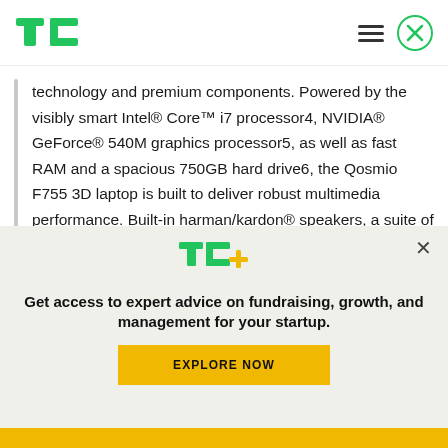TechCrunch header with logo, menu icon, and close button
technology and premium components. Powered by the visibly smart Intel® Core™ i7 processor4, NVIDIA® GeForce® 540M graphics processor5, as well as fast RAM and a spacious 750GB hard drive6, the Qosmio F755 3D laptop is built to deliver robust multimedia performance. Built-in harman/kardon® speakers, a suite of sound enhancement technologies from Dolby® and Waves Audio deliver
[Figure (logo): TC+ logo in green and yellow]
Get access to expert advice on fundraising, growth, and management for your startup.
EXPLORE NOW